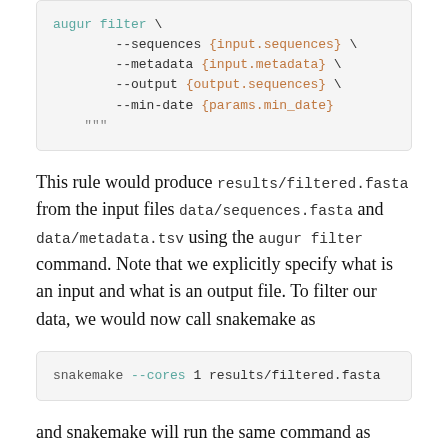augur filter \
    --sequences {input.sequences} \
    --metadata {input.metadata} \
    --output {output.sequences} \
    --min-date {params.min_date}
"""
This rule would produce results/filtered.fasta from the input files data/sequences.fasta and data/metadata.tsv using the augur filter command. Note that we explicitly specify what is an input and what is an output file. To filter our data, we would now call snakemake as
snakemake --cores 1 results/filtered.fasta
and snakemake will run the same command as specified above.
So far, this is just a complicated reformulation of what we did above, but the benefit of workflow management